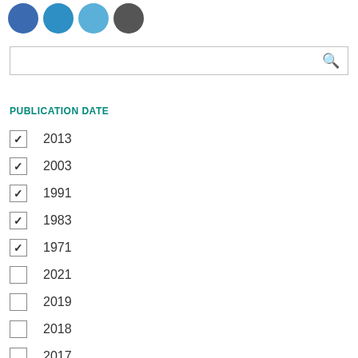[Figure (illustration): Partial view of four colored circles (blue shades and dark gray) partially cropped at top of page]
[Figure (screenshot): Search input box with a teal magnifying glass icon on the right]
PUBLICATION DATE
✓  2013
✓  2003
✓  1991
✓  1983
✓  1971
2021
2019
2018
2017
2016